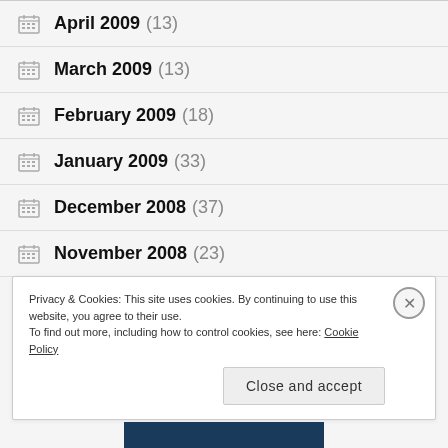April 2009 (13)
March 2009 (13)
February 2009 (18)
January 2009 (33)
December 2008 (37)
November 2008 (23)
Privacy & Cookies: This site uses cookies. By continuing to use this website, you agree to their use. To find out more, including how to control cookies, see here: Cookie Policy
Close and accept